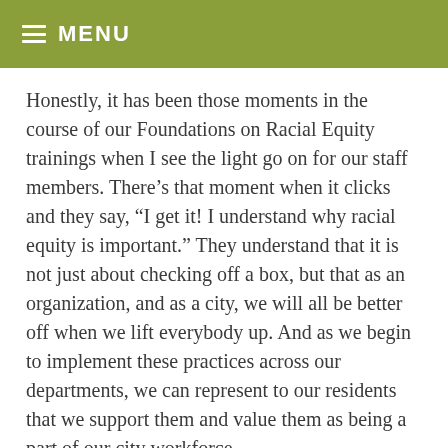MENU
Honestly, it has been those moments in the course of our Foundations on Racial Equity trainings when I see the light go on for our staff members.  There’s that moment when it clicks and they say, “I get it! I understand why racial equity is important.”  They understand that it is not just about checking off a box, but that as an organization, and as a city, we will all be better off when we lift everybody up.  And as we begin to implement these practices across our departments, we can represent to our residents that we support them and value them as being a part of our city workforce.
My goal for every department is for a career pathways program like the one we initiated in our Public Works Department.  We need more